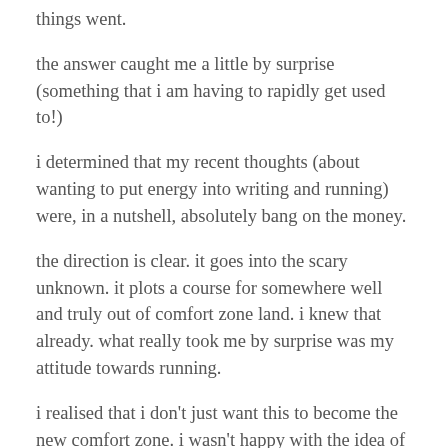things went.
the answer caught me a little by surprise (something that i am having to rapidly get used to!)
i determined that my recent thoughts (about wanting to put energy into writing and running) were, in a nutshell, absolutely bang on the money.
the direction is clear. it goes into the scary unknown. it plots a course for somewhere well and truly out of comfort zone land. i knew that already. what really took me by surprise was my attitude towards running.
i realised that i don't just want this to become the new comfort zone. i wasn't happy with the idea of just plodding every sunday, maybe doing the perth marathon again next year and coming in a few minutes faster.